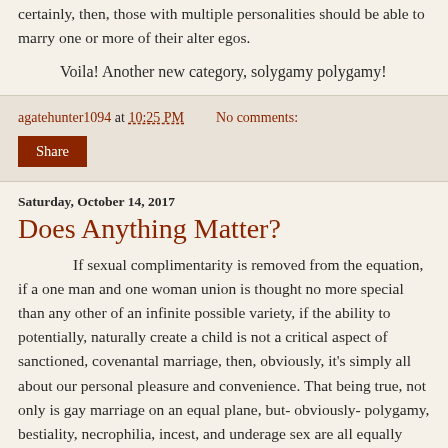certainly, then, those with multiple personalities should be able to marry one or more of their alter egos.
Voila! Another new category, solygamy polygamy!
agatehunter1094 at 10:25 PM   No comments:
Share
Saturday, October 14, 2017
Does Anything Matter?
If sexual complimentarity is removed from the equation, if a one man and one woman union is thought no more special than any other of an infinite possible variety, if the ability to potentially, naturally create a child is not a critical aspect of sanctioned, covenantal marriage, then, obviously, it's simply all about our personal pleasure and convenience. That being true, not only is gay marriage on an equal plane, but- obviously- polygamy, bestiality, necrophilia, incest, and underage sex are all equally fine.
Inclusion, acceptance and tolerance! Repeat it with me